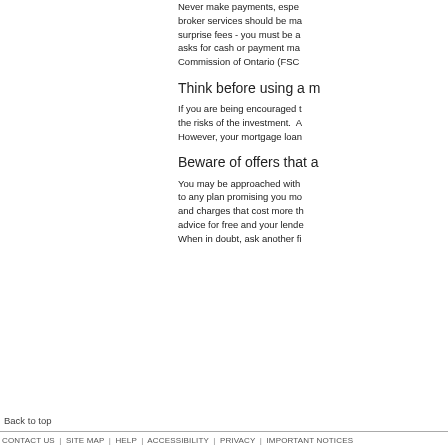Never make payments, especially broker services should be made surprise fees - you must be a asks for cash or payment ma Commission of Ontario (FSC
Think before using a m
If you are being encouraged t the risks of the investment. A However, your mortgage loan
Beware of offers that a
You may be approached with to any plan promising you mo and charges that cost more th advice for free and your lende When in doubt, ask another fi
Back to top
CONTACT US | SITE MAP | HELP | ACCESSIBILITY | PRIVACY | IMPORTANT NOTICES